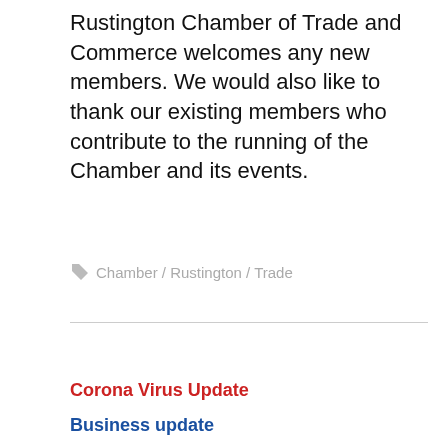Rustington Chamber of Trade and Commerce welcomes any new members.  We would also like to thank our existing members who contribute to the running of the Chamber and its events.
Chamber / Rustington / Trade
Corona Virus Update
Business update